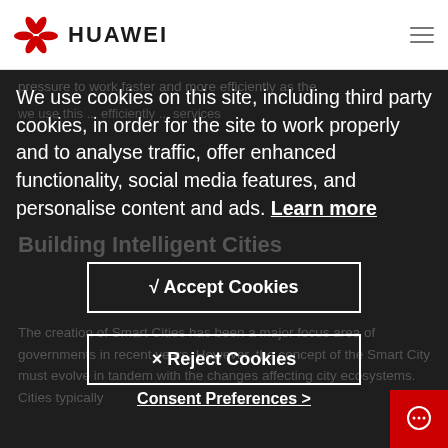HUAWEI
pressure to work faster and more efficiently as the
We use cookies on this site, including third party cookies, in order for the site to work properly and to analyse traffic, offer enhanced functionality, social media features, and personalise content and ads. Learn more
Building Intelligent Cities
The creation of Smart Cities has been a major focus area of governments in recent years. However, the concept of the Smart City must evolve in tandem with the changes affecting city ecosystems. Cities typically
√ Accept Cookies
× Reject Cookies
Consent Preferences >